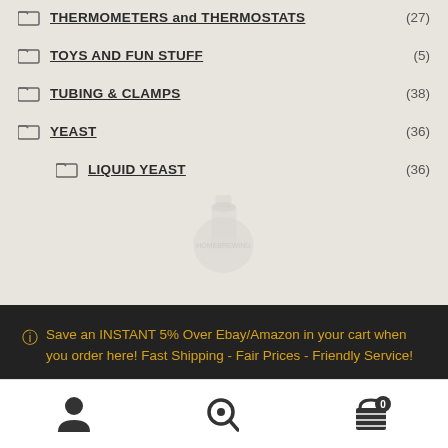THERMOMETERS and THERMOSTATS (27)
TOYS AND FUN STUFF (5)
TUBING & CLAMPS (38)
YEAST (36)
LIQUID YEAST (36)
Save an INSTANT 5% Over Ebay/Amazon in your cart when you order here! Fast Shipping - Fair Prices - Friendly Service!
Dismiss